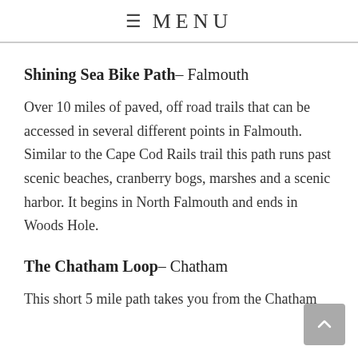≡ MENU
Shining Sea Bike Path– Falmouth
Over 10 miles of paved, off road trails that can be accessed in several different points in Falmouth. Similar to the Cape Cod Rails trail this path runs past scenic beaches, cranberry bogs, marshes and a scenic harbor. It begins in North Falmouth and ends in Woods Hole.
The Chatham Loop– Chatham
This short 5 mile path takes you from the Chatham